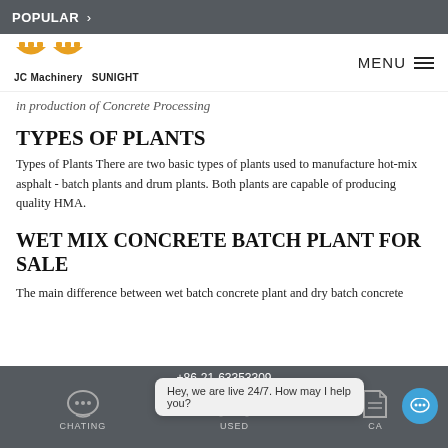POPULAR >
[Figure (logo): JC Machinery SUNIGHT logo with gear icons]
in production of Concrete Processing
TYPES OF PLANTS
Types of Plants There are two basic types of plants used to manufacture hot-mix asphalt - batch plants and drum plants. Both plants are capable of producing quality HMA.
WET MIX CONCRETE BATCH PLANT FOR SALE
The main difference between wet batch concrete plant and dry batch concrete
+86-21-63353309  CHATING  USED  CA...  Hey, we are live 24/7. How may I help you?